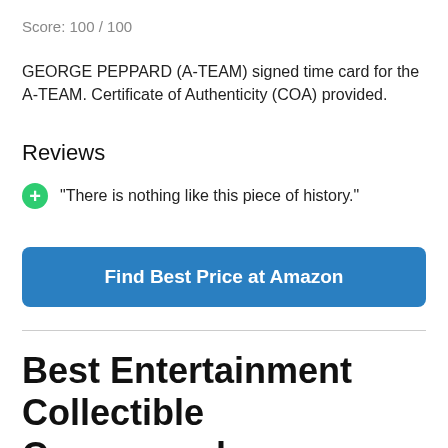Score: 100 / 100
GEORGE PEPPARD (A-TEAM) signed time card for the A-TEAM. Certificate of Authenticity (COA) provided.
Reviews
"There is nothing like this piece of history."
Find Best Price at Amazon
Best Entertainment Collectible Correspondence